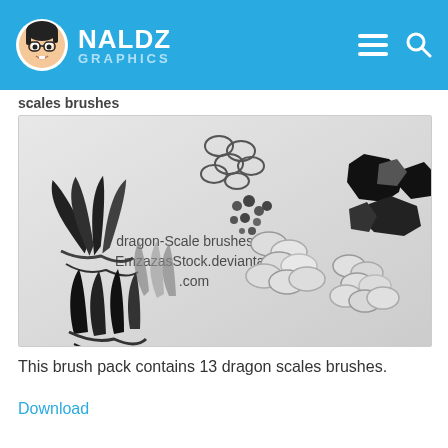NALDZ GRAPHICS
scales brushes
[Figure (photo): Dragon scale Photoshop brushes preview image showing various brush stamp designs on a light gray background. Includes claw-like scale patterns, bubble/oval scales, stone-like scales, and overlapping fish/dragon scale textures. Watermark text reads: dragon-Scale brushes by EmzazasStock.deviantart.com]
This brush pack contains 13 dragon scales brushes.
Download